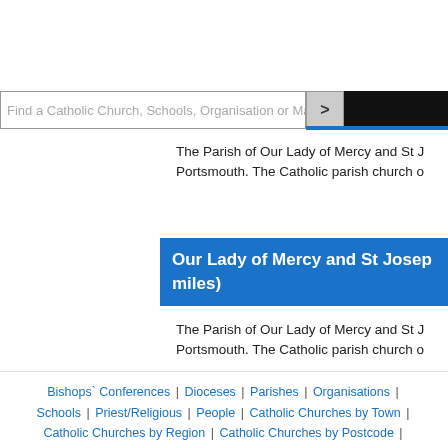[Figure (screenshot): Search bar with placeholder text 'Find a Catholic Church, Schools, Organisation or Ma' and a '>' button, with a black area to the right]
The Parish of Our Lady of Mercy and St J Portsmouth. The Catholic parish church o
Our Lady of Mercy and St Josep miles)
The Parish of Our Lady of Mercy and St J Portsmouth. The Catholic parish church o
Bishops` Conferences | Dioceses | Parishes | Organisations | Schools | Priest/Religious | People | Catholic Churches by Town | Catholic Churches by Region | Catholic Churches by Postcode |